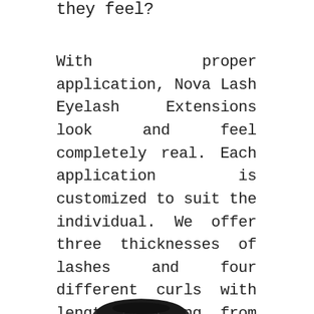they feel?
With proper application, Nova Lash Eyelash Extensions look and feel completely real. Each application is customized to suit the individual. We offer three thicknesses of lashes and four different curls with lengths ranging from 5mm to 17mm in a variety of colors for highlighting effects. Varying individual synthetic lash lengths are chosen to carefully replicate the shape and frame of a natural lash line. The thickness of Nova Lash
[Figure (photo): Partial view of a dark colored object or product at the bottom of the page]